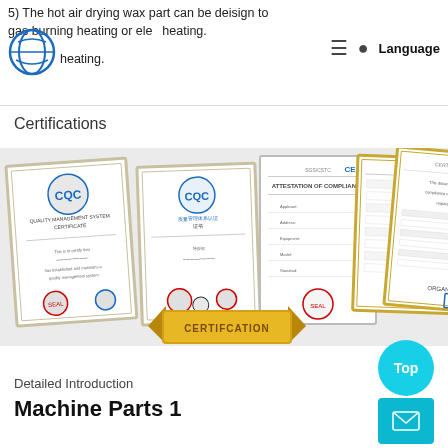5) The hot air drying wax part can be deisign to gas burning heating or electric heating.
Certifications
[Figure (photo): Five framed certification documents displayed side by side, including Quality Management System Certificate, Chinese language certificate, CE Attestation of Compliance, CE compliance table document, and CE attestation document, with a gold 'CERTIFICATION' banner at the bottom center.]
Detailed Introduction
Machine Parts 1